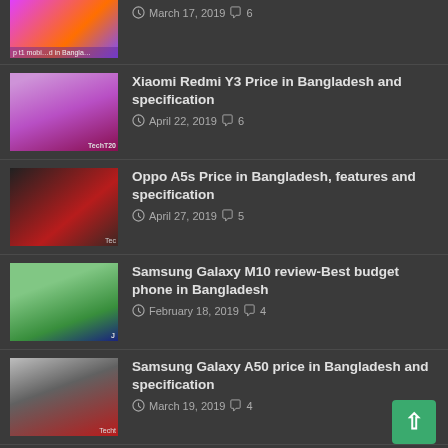[Figure (photo): Partial view of a phone article thumbnail, colorful gradient]
March 17, 2019  6
[Figure (photo): Xiaomi Redmi Y3 phone thumbnail with purple/pink gradient]
Xiaomi Redmi Y3 Price in Bangladesh and specification
April 22, 2019  6
[Figure (photo): Oppo A5s phone thumbnail dark red]
Oppo A5s Price in Bangladesh, features and specification
April 27, 2019  5
[Figure (photo): Samsung Galaxy M10 blue phone against green leaves]
Samsung Galaxy M10 review-Best budget phone in Bangladesh
February 18, 2019  4
[Figure (photo): Samsung Galaxy A50 phone thumbnail]
Samsung Galaxy A50 price in Bangladesh and specification
March 19, 2019  4
RANDOM POSTS
[Figure (photo): Huawei mobile thumbnail partial]
Huawei mobile price in Bangladesh